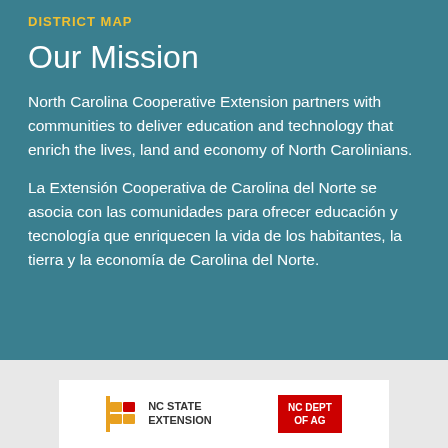DISTRICT MAP
Our Mission
North Carolina Cooperative Extension partners with communities to deliver education and technology that enrich the lives, land and economy of North Carolinians.
La Extensión Cooperativa de Carolina del Norte se asocia con las comunidades para ofrecer educación y tecnología que enriquecen la vida de los habitantes, la tierra y la economía de Carolina del Norte.
[Figure (logo): NC State Extension and NC Department of Agriculture logos in a white card at the bottom]